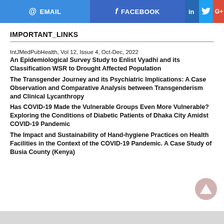[Figure (infographic): Social sharing bar with EMAIL (blue), FACEBOOK (blue), LinkedIn (dark blue icon), Twitter (light blue bird icon), Google+ (red G+) buttons]
IMPORTANT_LINKS
IntJMedPubHealth, Vol 12, Issue 4, Oct-Dec, 2022
An Epidemiological Survey Study to Enlist Vyadhi and its Classification WSR to Drought Affected Population
The Transgender Journey and its Psychiatric Implications: A Case Observation and Comparative Analysis between Transgenderism and Clinical Lycanthropy
Has COVID-19 Made the Vulnerable Groups Even More Vulnerable? Exploring the Conditions of Diabetic Patients of Dhaka City Amidst COVID-19 Pandemic
The Impact and Sustainability of Hand-hygiene Practices on Health Facilities in the Context of the COVID-19 Pandemic. A Case Study of Busia County (Kenya)